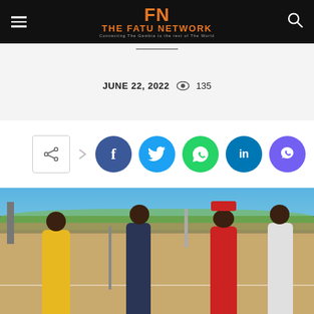FN THE FATU NETWORK Connecting The Gambia to the rest of The World
JUNE 22, 2022  135
[Figure (screenshot): Social sharing buttons: share icon, Facebook, Twitter, WhatsApp, LinkedIn, Viber]
[Figure (photo): Tennis court scene with several people standing near the net, including one person in a yellow shirt and another in a red cap. Blue sky and trees visible in background.]